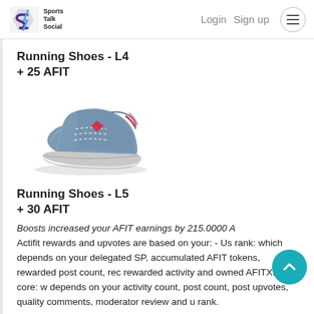Sports Talk Social — Login  Sign up
Running Shoes - L4
+ 25 AFIT
[Figure (illustration): 3D rendered grey running shoe with red accents, side-front view]
Running Shoes - L5
+ 30 AFIT
Boosts increased your AFIT earnings by 215.0000 A Actifit rewards and upvotes are based on your: - Us rank: which depends on your delegated SP, accumulated AFIT tokens, rewarded post count, rec rewarded activity and owned AFITX. - core: w depends on your activity count, post count, post upvotes, quality comments, moderator review and u rank.